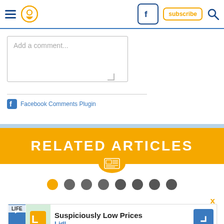Navigation header with hamburger menu, location icon, Facebook icon, subscribe button, search icon
Add a comment...
Facebook Comments Plugin
RELATED ARTICLES
[Figure (infographic): Newspaper icon badge below RELATED ARTICLES banner]
[Figure (infographic): Row of 8 pagination dots, first dot orange, rest grey]
[Figure (infographic): Lidl advertisement banner: Suspiciously Low Prices, Lidl]
LIFE